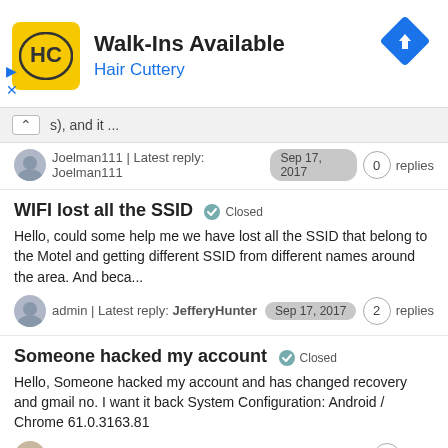[Figure (screenshot): Hair Cuttery advertisement banner with logo and turn arrow icon]
s), and it ...
Joelman111 | Latest reply: Joelman111  Sep 17, 2017  0 replies
WIFI lost all the SSID  Closed
Hello, could some help me we have lost all the SSID that belong to the Motel and getting different SSID from different names around the area. And beca...
admin | Latest reply: JefferyHunter  Sep 17, 2017  2 replies
Someone hacked my account  Closed
Hello, Someone hacked my account and has changed recovery and gmail no. I want it back System Configuration: Android / Chrome 61.0.3163.81
Samar Singh | Latest reply: Geek8  Sep 16, 2017  1 reply
How to setup Belkin router 2